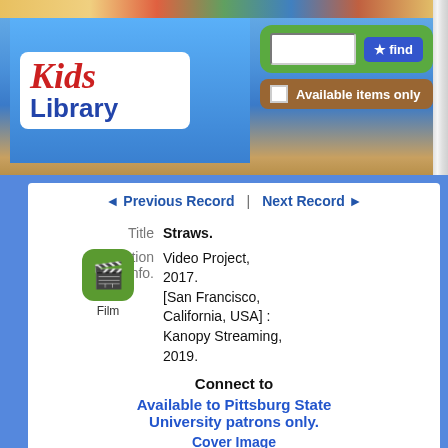[Figure (screenshot): Kids Library logo with colorful book graphic and search interface header]
Previous Record | Next Record
Title  Straws.
Publication Info.  Video Project, 2017. [San Francisco, California, USA] : Kanopy Streaming, 2019.
Connect to
Available to Pittsburg State University patrons only.
Cover Image
Copies
| Location | Call No. | OPAC Mes |
| --- | --- | --- |